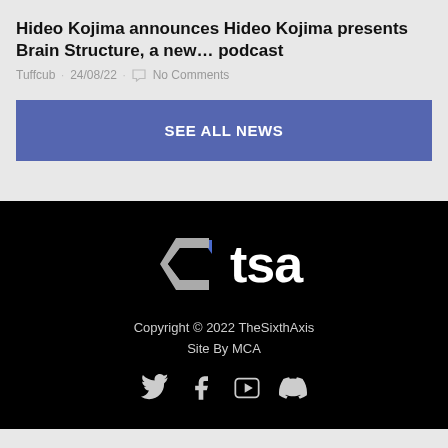Hideo Kojima announces Hideo Kojima presents Brain Structure, a new… podcast
Tuffcub · 24/08/22 · No Comments
SEE ALL NEWS
[Figure (logo): TheSixthAxis (TSA) logo — a stylized hexagonal C shape in grey with a blue triangle accent, followed by white bold lowercase text 'tsa', on a black background]
Copyright © 2022 TheSixthAxis
Site By MCA
[Figure (other): Social media icons: Twitter (bird), Facebook (f), YouTube, Discord — displayed in grey/white on black background]